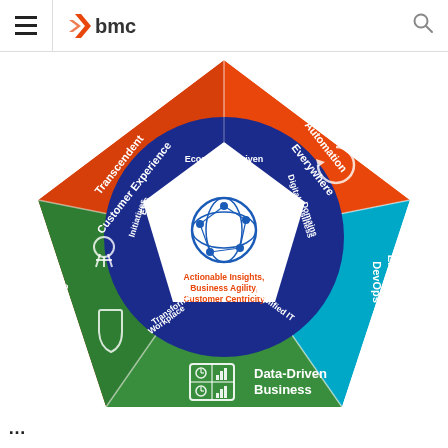BMC logo header with hamburger menu and search icon
[Figure (infographic): Pentagon-shaped infographic with BMC brand colors. A large pentagon outer shape divided into 5 colored segments: red/orange (Transcendent Customer Experience, Automation Everywhere), teal/blue (Enterprise DevOps), green (Data-Driven Business, Adaptive Cybersecurity). Inside is a dark blue circular ring with 6 labeled segments: Ecosystem-Driven Innovation, Digital Business Domains, Amplified IT, Transformed Workplace, ESG Initiatives, and a center pentagon with text 'Actionable Insights, Business Agility, Customer Centricity' with a globe/network icon. Icons appear in each outer segment.]
Data-Driven Business